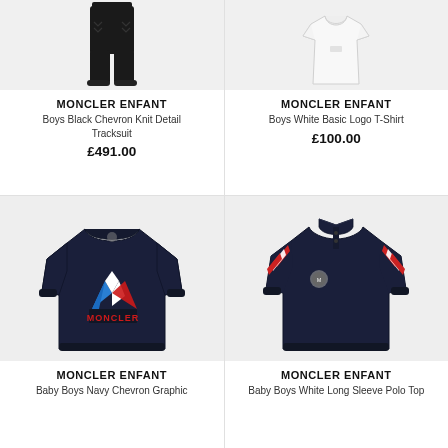[Figure (photo): Black chevron knit detail tracksuit trousers on white/light grey background]
MONCLER ENFANT
Boys Black Chevron Knit Detail Tracksuit
£491.00
[Figure (photo): White basic logo t-shirt on white/light grey background]
MONCLER ENFANT
Boys White Basic Logo T-Shirt
£100.00
[Figure (photo): Navy chevron graphic sweatshirt with Moncler logo on grey background]
MONCLER ENFANT
Baby Boys Navy Chevron Graphic
[Figure (photo): White long sleeve polo top with red/white striped sleeves on grey background]
MONCLER ENFANT
Baby Boys White Long Sleeve Polo Top